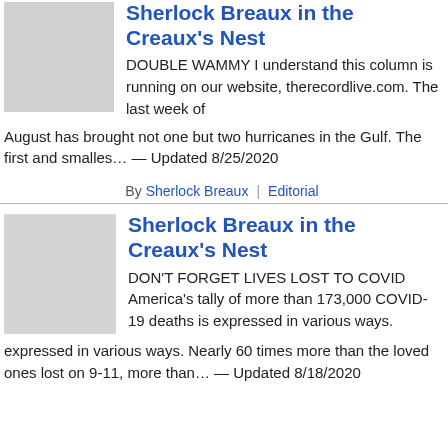Sherlock Breaux in the Creaux's Nest
DOUBLE WAMMY I understand this column is running on our website, therecordlive.com. The last week of August has brought not one but two hurricanes in the Gulf. The first and smalles… — Updated 8/25/2020
By Sherlock Breaux   Editorial
Sherlock Breaux in the Creaux's Nest
DON'T FORGET LIVES LOST TO COVID America's tally of more than 173,000 COVID-19 deaths is expressed in various ways. Nearly 60 times more than the loved ones lost on 9-11, more than… — Updated 8/18/2020